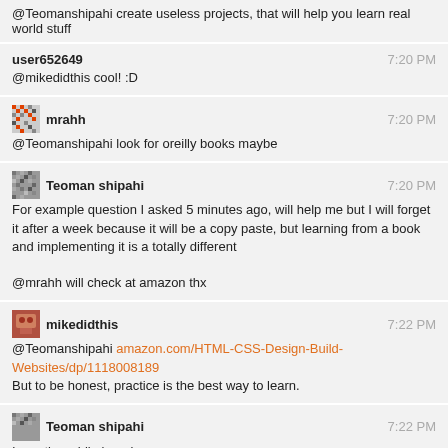@Teomanshipahi create useless projects, that will help you learn real world stuff
user652649
7:20 PM
@mikedidthis cool! :D
mrahh
7:20 PM
@Teomanshipahi look for oreilly books maybe
Teoman shipahi
7:20 PM
For example question I asked 5 minutes ago, will help me but I will forget it after a week because it will be a copy paste, but learning from a book and implementing it is a totally different
@mrahh will check at amazon thx
mikedidthis
7:22 PM
@Teomanshipahi amazon.com/HTML-CSS-Design-Build-Websites/dp/1118008189
But to be honest, practice is the best way to learn.
Teoman shipahi
7:22 PM
I practice while learning;

while(learning)
{
practice();
}

:)
mrahh
7:23 PM
sound unfortunate, but how do i stop someone from stealing my ideas for a startup, like askfm did to formspring? considering i have fewer resources